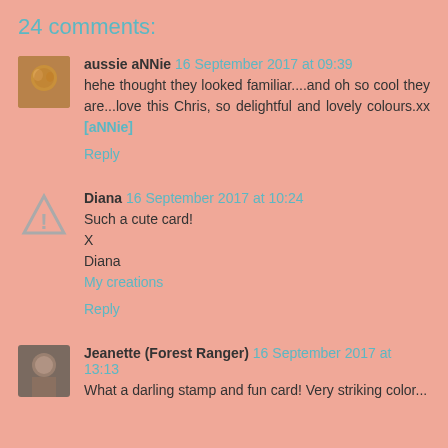24 comments:
aussie aNNie  16 September 2017 at 09:39
hehe thought they looked familiar....and oh so cool they are...love this Chris, so delightful and lovely colours.xx
[aNNie]
Reply
Diana  16 September 2017 at 10:24
Such a cute card!
X
Diana
My creations
Reply
Jeanette (Forest Ranger)  16 September 2017 at 13:13
What a darling stamp and fun card! Very striking color...